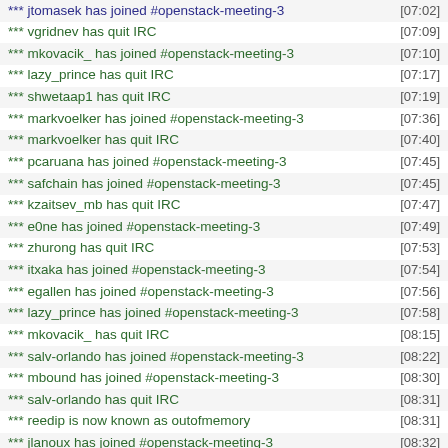*** jtomasek has joined #openstack-meeting-3 [07:02]
*** vgridnev has quit IRC [07:09]
*** mkovacik_ has joined #openstack-meeting-3 [07:10]
*** lazy_prince has quit IRC [07:17]
*** shwetaap1 has quit IRC [07:19]
*** markvoelker has joined #openstack-meeting-3 [07:36]
*** markvoelker has quit IRC [07:40]
*** pcaruana has joined #openstack-meeting-3 [07:45]
*** safchain has joined #openstack-meeting-3 [07:45]
*** kzaitsev_mb has quit IRC [07:47]
*** e0ne has joined #openstack-meeting-3 [07:49]
*** zhurong has quit IRC [07:53]
*** itxaka has joined #openstack-meeting-3 [07:54]
*** egallen has joined #openstack-meeting-3 [07:56]
*** lazy_prince has joined #openstack-meeting-3 [07:58]
*** mkovacik_ has quit IRC [08:15]
*** salv-orlando has joined #openstack-meeting-3 [08:22]
*** mbound has joined #openstack-meeting-3 [08:30]
*** salv-orlando has quit IRC [08:31]
*** reedip is now known as outofmemory [08:31]
*** jlanoux has joined #openstack-meeting-3 [08:32]
*** luisfdez has quit IRC [08:33]
*** jlanoux has quit IRC [08:34]